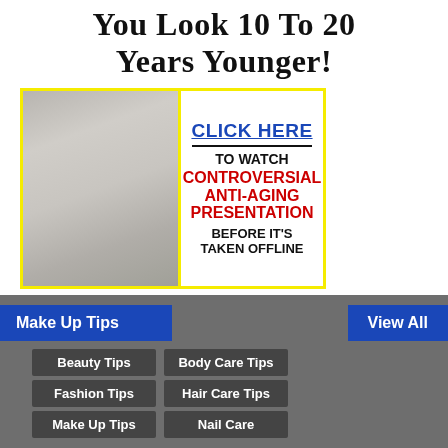You Look 10 To 20 Years Younger!
[Figure (illustration): Anti-aging advertisement banner showing a woman's face split between aged and young skin, with text overlay: CLICK HERE TO WATCH CONTROVERSIAL ANTI-AGING PRESENTATION BEFORE IT'S TAKEN OFFLINE]
Make Up Tips
View All
Beauty Tips
Body Care Tips
Fashion Tips
Hair Care Tips
Make Up Tips
Nail Care
HACKBYC2XB
© September 23, 2020